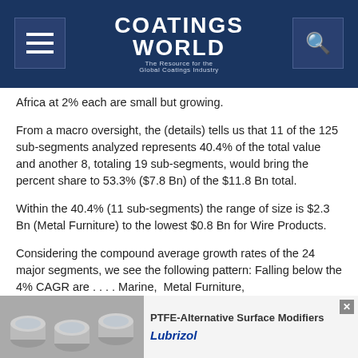Coatings World — The Resource for the Global Coatings Industry
Africa at 2% each are small but growing.
From a macro oversight, the (details) tells us that 11 of the 125 sub-segments analyzed represents 40.4% of the total value and another 8, totaling 19 sub-segments, would bring the percent share to 53.3% ($7.8 Bn) of the $11.8 Bn total.
Within the 40.4% (11 sub-segments) the range of size is $2.3 Bn (Metal Furniture) to the lowest $0.8 Bn for Wire Products.
Considering the compound average growth rates of the 24 major segments, we see the following pattern: Falling below the 4% CAGR are . . . . Marine,  Metal Furniture,
[Figure (photo): Advertisement for PTFE-Alternative Surface Modifiers by Lubrizol, showing metallic cans and product branding]